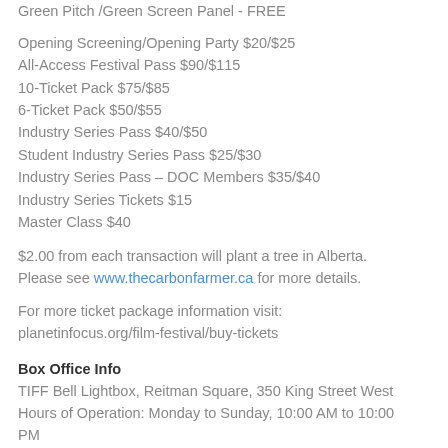Festival Field Trip Screenings $0
Green Pitch /Green Screen Panel - FREE
Opening Screening/Opening Party $20/$25
All-Access Festival Pass $90/$115
10-Ticket Pack $75/$85
6-Ticket Pack $50/$55
Industry Series Pass $40/$50
Student Industry Series Pass $25/$30
Industry Series Pass – DOC Members $35/$40
Industry Series Tickets $15
Master Class $40
$2.00 from each transaction will plant a tree in Alberta. Please see www.thecarbonfarmer.ca for more details.
For more ticket package information visit: planetinfocus.org/film-festival/buy-tickets
Box Office Info
TIFF Bell Lightbox, Reitman Square, 350 King Street West Hours of Operation: Monday to Sunday, 10:00 AM to 10:00 PM